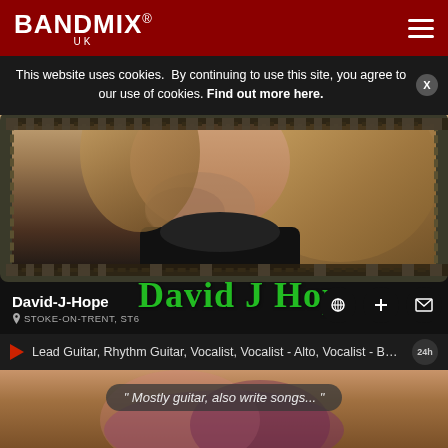BANDMIX® UK
This website uses cookies. By continuing to use this site, you agree to our use of cookies. Find out more here.
[Figure (photo): Profile photo of David-J-Hope, a person with long hair, displayed within a decorative Celtic-style border frame]
David J Hop (stylized Old English / Gothic text watermark)
David-J-Hope
STOKE-ON-TRENT, ST6
Lead Guitar, Rhythm Guitar, Vocalist, Vocalist - Alto, Vocalist - Bari...
" Mostly guitar, also write songs... "